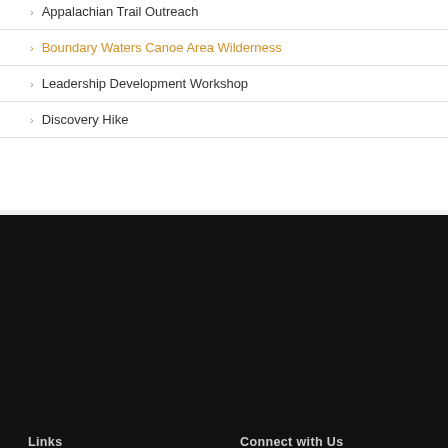Appalachian Trail Outreach
Boundary Waters Canoe Area Wilderness
Leadership Development Workshop
Discovery Hike
Links
Connect with Us
Contact Us
Get Involved
Signature Events You Can Join
Mobile Office: 615.972.9033
What's a benchmark?
Email
Ministry Event Calendar
Facebook